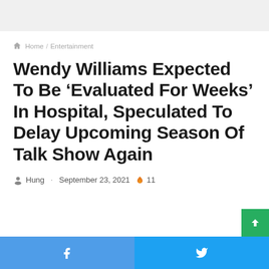Home / Entertainment
Wendy Williams Expected To Be ‘Evaluated For Weeks’ In Hospital, Speculated To Delay Upcoming Season Of Talk Show Again
Hung · September 23, 2021 🔥 11